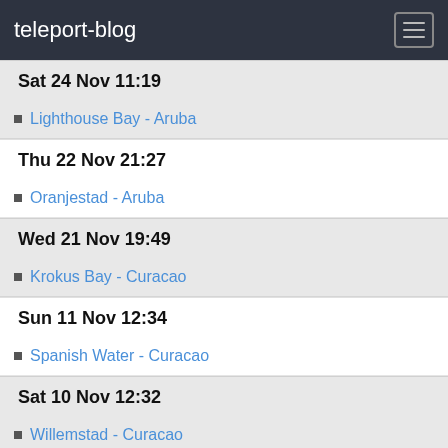teleport-blog
Sat 24 Nov 11:19
Lighthouse Bay - Aruba
Thu 22 Nov 21:27
Oranjestad - Aruba
Wed 21 Nov 19:49
Krokus Bay - Curacao
Sun 11 Nov 12:34
Spanish Water - Curacao
Sat 10 Nov 12:32
Willemstad - Curacao
Sun 4 Nov 17:31
Spanish Water - Curacao
Oct 2018
Sun 28 Oct 20:24
St George's - Grenada